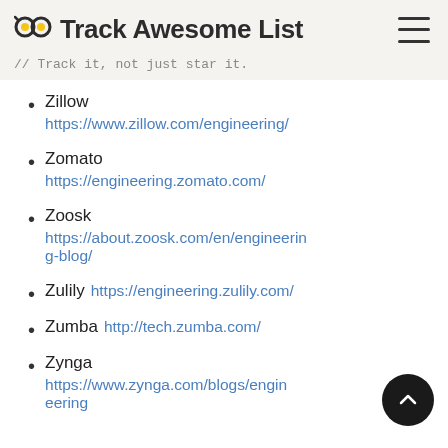Track Awesome List // Track it, not just star it.
Zillow https://www.zillow.com/engineering/
Zomato https://engineering.zomato.com/
Zoosk https://about.zoosk.com/en/engineering-blog/
Zulily https://engineering.zulily.com/
Zumba http://tech.zumba.com/
Zynga https://www.zynga.com/blogs/engineering